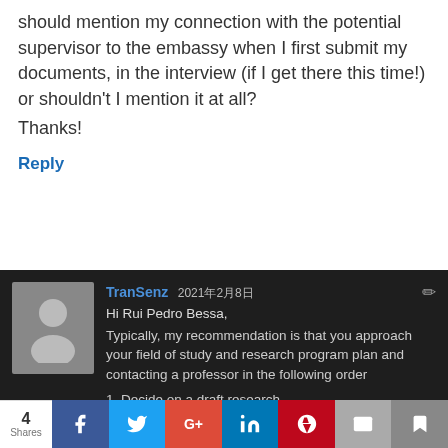should mention my connection with the potential supervisor to the embassy when I first submit my documents, in the interview (if I get there this time!) or shouldn't I mention it at all?
Thanks!
Reply
TranSenz 2021年2月8日
Hi Rui Pedro Bessa,
Typically, my recommendation is that you approach your field of study and research program plan and contacting a professor in the following order
1. Decide on a draft research
4 Shares  f  t  G+  in  P  mail  bookmark